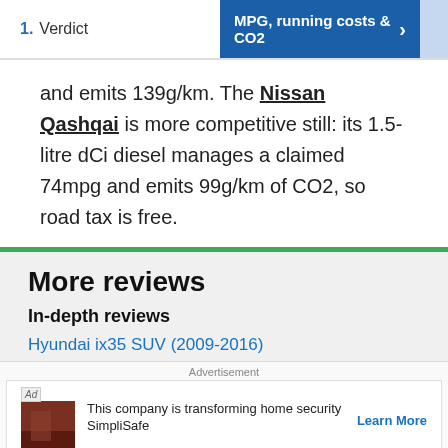1. Verdict | MPG, running costs & CO2
and emits 139g/km. The Nissan Qashqai is more competitive still: its 1.5-litre dCi diesel manages a claimed 74mpg and emits 99g/km of CO2, so road tax is free.
More reviews
In-depth reviews
Hyundai ix35 SUV (2009-2016)
Advertisement
This company is transforming home security SimpliSafe Learn More